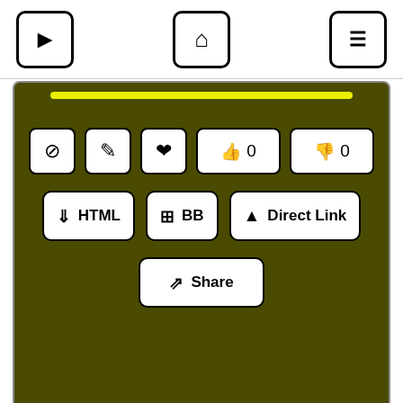[Figure (screenshot): Mobile app UI screenshot showing navigation bar with forward, home, and menu buttons at top; two content cards with dark olive/khaki background. First card shows action icons (block, edit, favorite, thumbs up 0, thumbs down 0) and buttons (HTML, BB, Direct Link, Share). Second card shows a play button, a 'Girls Only' category tag, 'Baby Girl' in pink glitter script font, and the same icon row at bottom.]